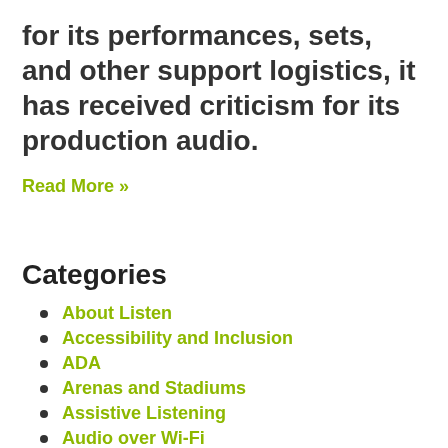for its performances, sets, and other support logistics, it has received criticism for its production audio.
Read More »
Categories
About Listen
Accessibility and Inclusion
ADA
Arenas and Stadiums
Assistive Listening
Audio over Wi-Fi
Business